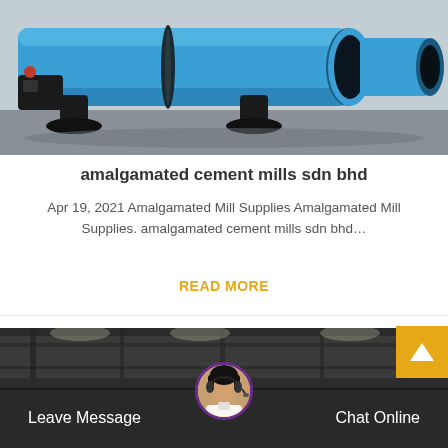[Figure (photo): Large blue industrial rotary drum mill/cylinder machine on supports, viewed from the side in an industrial setting]
amalgamated cement mills sdn bhd
Apr 19, 2021 Amalgamated Mill Supplies Amalgamated Mill Supplies. amalgamated cement mills sdn bhd…
READ MORE
[Figure (photo): Interior of an industrial warehouse or factory with overhead lighting and structural beams]
Leave Message
[Figure (photo): Customer service representative avatar with headset, circular crop with purple border]
Chat Online